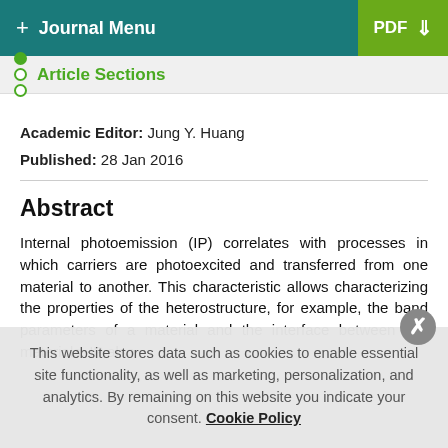+ Journal Menu | PDF
Article Sections
Academic Editor: Jung Y. Huang
Published: 28 Jan 2016
Abstract
Internal photoemission (IP) correlates with processes in which carriers are photoexcited and transferred from one material to another. This characteristic allows characterizing the properties of the heterostructure, for example, the band parameters of a material and the interface between two materials. IP also
This website stores data such as cookies to enable essential site functionality, as well as marketing, personalization, and analytics. By remaining on this website you indicate your consent. Cookie Policy